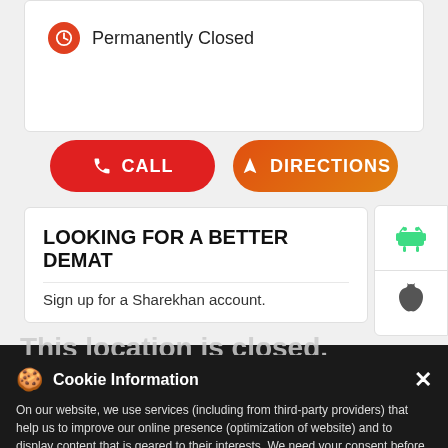Permanently Closed
CALL
DIRECTIONS
LOOKING FOR A BETTER DEMAT
Sign up for a Sharekhan account.
This location is closed. Please check out the Nearby Locations below
Cookie Information
On our website, we use services (including from third-party providers) that help us to improve our online presence (optimization of website) and to display content that is geared to their interests. We need your consent before being able to use these services.
Product*
Book Uber to Sharekhan
T&C Apply